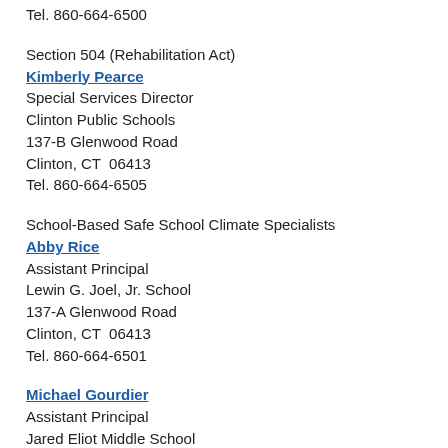Tel. 860-664-6500
Section 504 (Rehabilitation Act)
Kimberly Pearce
Special Services Director
Clinton Public Schools
137-B Glenwood Road
Clinton, CT  06413
Tel. 860-664-6505
School-Based Safe School Climate Specialists
Abby Rice
Assistant Principal
Lewin G. Joel, Jr. School
137-A Glenwood Road
Clinton, CT  06413
Tel. 860-664-6501
Michael Gourdier
Assistant Principal
Jared Eliot Middle School
69 Fairy Dell Road
Clinton, CT  06413